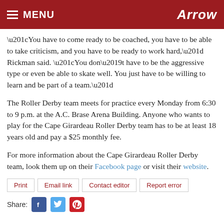MENU | Arrow
“You have to come ready to be coached, you have to be able to take criticism, and you have to be ready to work hard,” Rickman said. “You don’t have to be the aggressive type or even be able to skate well. You just have to be willing to learn and be part of a team.”
The Roller Derby team meets for practice every Monday from 6:30 to 9 p.m. at the A.C. Brase Arena Building. Anyone who wants to play for the Cape Girardeau Roller Derby team has to be at least 18 years old and pay a $25 monthly fee.
For more information about the Cape Girardeau Roller Derby team, look them up on their Facebook page or visit their website.
Print | Email link | Contact editor | Report error
Share: [Facebook] [Twitter] [Pinterest]